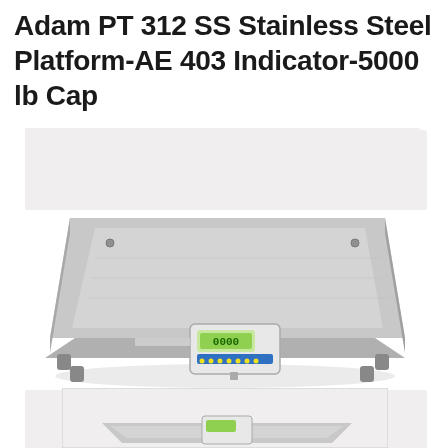Adam PT 312 SS Stainless Steel Platform-AE 403 Indicator-5000 lb Cap
[Figure (photo): Adam PT 312 SS stainless steel floor platform scale with AE 403 indicator display showing 0000, viewed from an angle above. The scale is a large flat square stainless steel platform with small rubber feet at corners. The indicator is a small rectangular display unit placed at the front center edge.]
[Figure (photo): Partial view of another scale or second angle of the same scale, showing just the top portion of the stainless steel platform.]